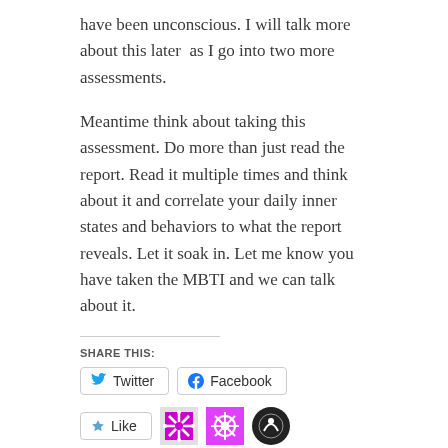have been unconscious. I will talk more about this later  as I go into two more assessments.
Meantime think about taking this assessment. Do more than just read the report. Read it multiple times and think about it and correlate your daily inner states and behaviors to what the report reveals. Let it soak in. Let me know you have taken the MBTI and we can talk about it.
SHARE THIS:
Twitter  Facebook
Like
3 bloggers like this.
RELATED:
GROWING UP
COMPASSION